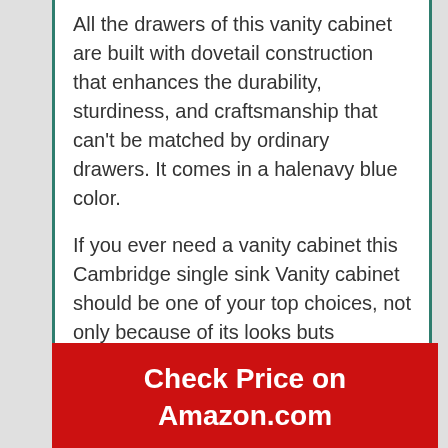All the drawers of this vanity cabinet are built with dovetail construction that enhances the durability, sturdiness, and craftsmanship that can't be matched by ordinary drawers. It comes in a halenavy blue color.
If you ever need a vanity cabinet this Cambridge single sink Vanity cabinet should be one of your top choices, not only because of its looks buts features are well which are found among premium vanity cabinets. The construction is also very sturdy and the unit is extremely durable.
Check Price on Amazon.com